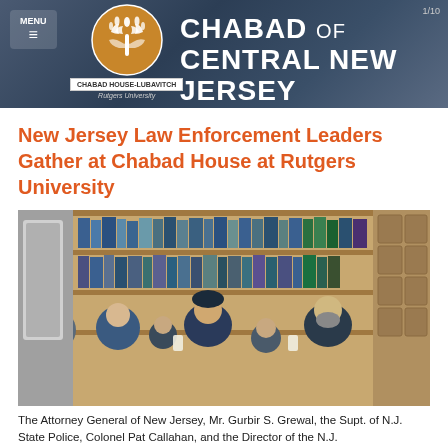Chabad of Central New Jersey — www.chabadnj.com
New Jersey Law Enforcement Leaders Gather at Chabad House at Rutgers University
[Figure (photo): Group of law enforcement leaders and rabbis seated around a conference table in a library setting with bookshelves in background. Several men in suits, one in police uniform, one wearing a turban, and two with beards.]
The Attorney General of New Jersey, Mr. Gurbir S. Grewal, the Supt. of N.J. State Police, Colonel Pat Callahan, and the Director of the N.J.